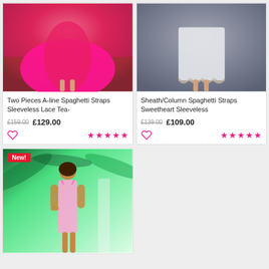[Figure (photo): Woman wearing red/pink tulle a-line dress, lower body visible, standing on brick surface]
Two Pieces A-line Spaghetti Straps Sleeveless Lace Tea-
£159.00  £129.00
[Figure (photo): Woman wearing grey/silver lace sheath dress, lower body visible, standing on tiled surface]
Sheath/Column Spaghetti Straps Sweetheart Sleeveless
£139.00  £109.00
[Figure (photo): Woman wearing pink spaghetti strap dress, full body, outdoor tropical background with palm trees]